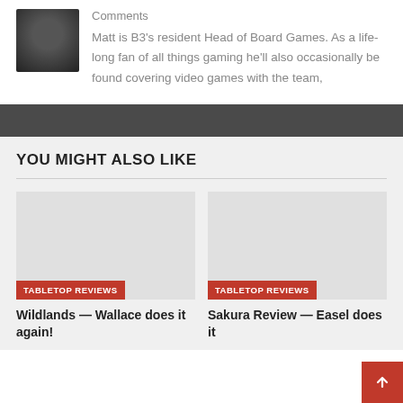Comments
Matt is B3's resident Head of Board Games. As a life-long fan of all things gaming he'll also occasionally be found covering video games with the team,
YOU MIGHT ALSO LIKE
[Figure (photo): Placeholder image for Wildlands article]
TABLETOP REVIEWS
Wildlands — Wallace does it again!
[Figure (photo): Placeholder image for Sakura Review article]
TABLETOP REVIEWS
Sakura Review — Easel does it